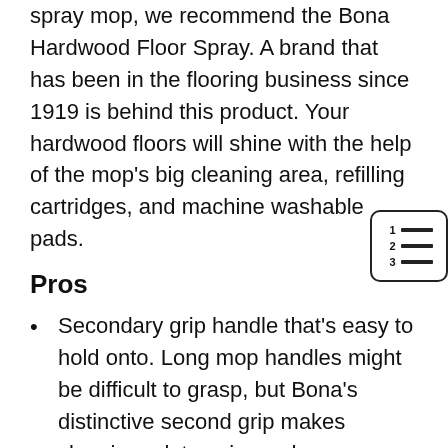spray mop, we recommend the Bona Hardwood Floor Spray. A brand that has been in the flooring business since 1919 is behind this product. Your hardwood floors will shine with the help of the mop's big cleaning area, refilling cartridges, and machine washable pads.
Pros
Secondary grip handle that's easy to hold onto. Long mop handles might be difficult to grasp, but Bona's distinctive second grip makes cleaning a lot easier and more comfortable.
You don't need any batteries to get